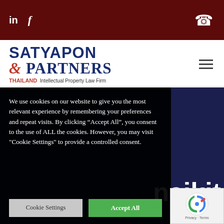[Figure (logo): Top dark red navigation bar with LinkedIn and Facebook social icons on the left, phone icon on the right]
[Figure (logo): Satyapon & Partners Thailand Intellectual Property Law Firm logo with hamburger menu]
We use cookies on our website to give you the most relevant experience by remembering your preferences and repeat visits. By clicking “Accept All”, you consent to the use of ALL the cookies. However, you may visit "Cookie Settings" to provide a controlled consent.
Cookie Settings
Accept All
naikit
[Figure (other): Google reCAPTCHA badge with logo, Privacy and Terms links]